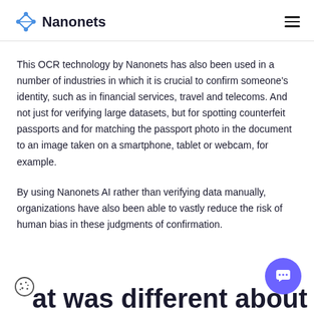Nanonets
This OCR technology by Nanonets has also been used in a number of industries in which it is crucial to confirm someone's identity, such as in financial services, travel and telecoms. And not just for verifying large datasets, but for spotting counterfeit passports and for matching the passport photo in the document to an image taken on a smartphone, tablet or webcam, for example.
By using Nanonets AI rather than verifying data manually, organizations have also been able to vastly reduce the risk of human bias in these judgments of confirmation.
[Figure (logo): Cookie icon and partial section heading 'at was different about']